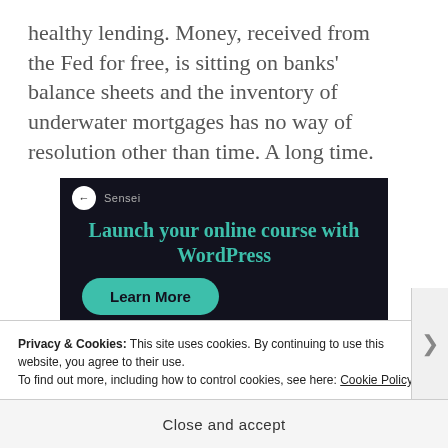healthy lending. Money, received from the Fed for free, is sitting on banks' balance sheets and the inventory of underwater mortgages has no way of resolution other than time. A long time.
[Figure (screenshot): Advertisement for online course platform Sensei with dark background, teal headline 'Launch your online course with WordPress' and a teal 'Learn More' button.]
Privacy & Cookies: This site uses cookies. By continuing to use this website, you agree to their use.
To find out more, including how to control cookies, see here: Cookie Policy
Close and accept